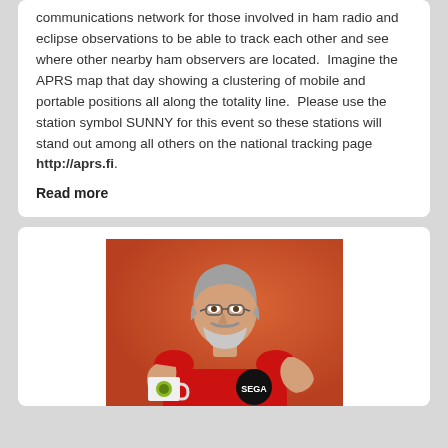communications network for those involved in ham radio and eclipse observations to be able to track each other and see where other nearby ham observers are located. Imagine the APRS map that day showing a clustering of mobile and portable positions all along the totality line. Please use the station symbol SUNNY for this event so these stations will stand out among all others on the national tracking page http://aprs.fi.
Read more
[Figure (photo): A man with gray hair and beard wearing glasses and a red sleeveless shirt/tank top holding a white mug, photographed against an orange background. He has a SEGA logo on his shirt.]